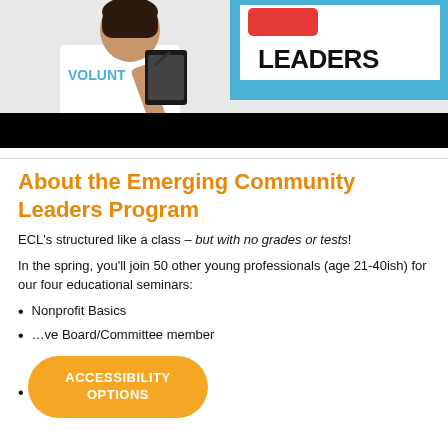[Figure (photo): Hero image showing a woman in a white volunteer t-shirt holding a clipboard, with text 'LEADERS' and colored design elements on the right side. A black bar at the bottom of the image area.]
About the Emerging Community Leaders Program
ECL's structured like a class – but with no grades or tests!
In the spring, you'll join 50 other young professionals (age 21-40ish) for our four educational seminars:
Nonprofit Basics
…ve Board/Committee member
…nteer fit